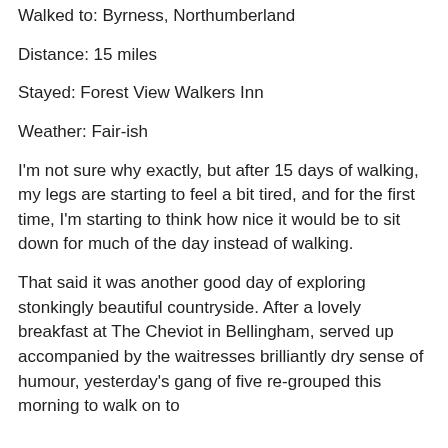Walked to: Byrness, Northumberland
Distance: 15 miles
Stayed: Forest View Walkers Inn
Weather: Fair-ish
I'm not sure why exactly, but after 15 days of walking, my legs are starting to feel a bit tired, and for the first time, I'm starting to think how nice it would be to sit down for much of the day instead of walking.
That said it was another good day of exploring stonkingly beautiful countryside. After a lovely breakfast at The Cheviot in Bellingham, served up accompanied by the waitresses brilliantly dry sense of humour, yesterday's gang of five re-grouped this morning to walk on to